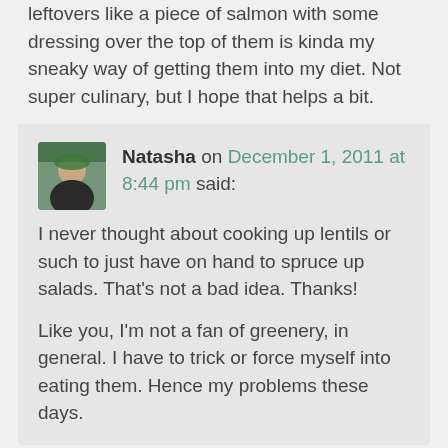leftovers like a piece of salmon with some dressing over the top of them is kinda my sneaky way of getting them into my diet. Not super culinary, but I hope that helps a bit.
Natasha on December 1, 2011 at 8:44 pm said: I never thought about cooking up lentils or such to just have on hand to spruce up salads. That's not a bad idea. Thanks! Like you, I'm not a fan of greenery, in general. I have to trick or force myself into eating them. Hence my problems these days.
Claire on November 30, 2011 at 11:14 pm said: